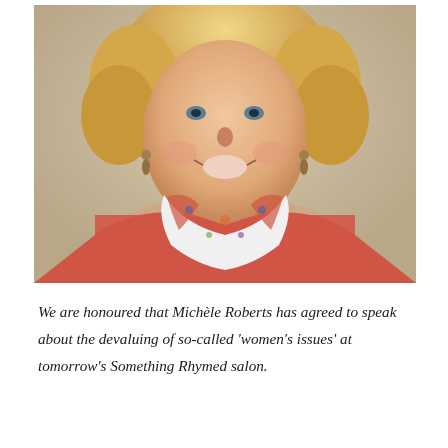[Figure (photo): Portrait photograph of a smiling middle-aged woman with curly blonde hair, wearing a coral/red top and a colorful floral scarf with blue, purple, green, red and white patterns. She is wearing dangling earrings and is photographed against a neutral background.]
We are honoured that Michèle Roberts has agreed to speak about the devaluing of so-called 'women's issues' at tomorrow's Something Rhymed salon.